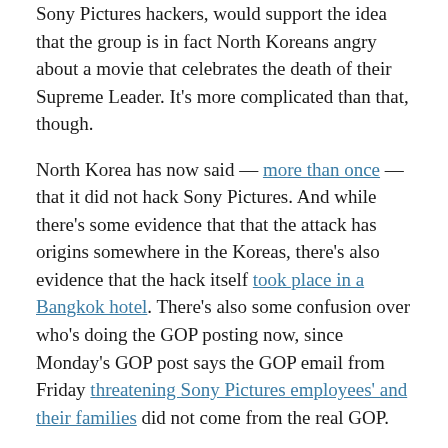Sony Pictures hackers, would support the idea that the group is in fact North Koreans angry about a movie that celebrates the death of their Supreme Leader. It's more complicated than that, though.
North Korea has now said — more than once — that it did not hack Sony Pictures. And while there's some evidence that that the attack has origins somewhere in the Koreas, there's also evidence that the hack itself took place in a Bangkok hotel. There's also some confusion over who's doing the GOP posting now, since Monday's GOP post says the GOP email from Friday threatening Sony Pictures employees' and their families did not come from the real GOP.
[Figure (other): Advertisement placeholder box]